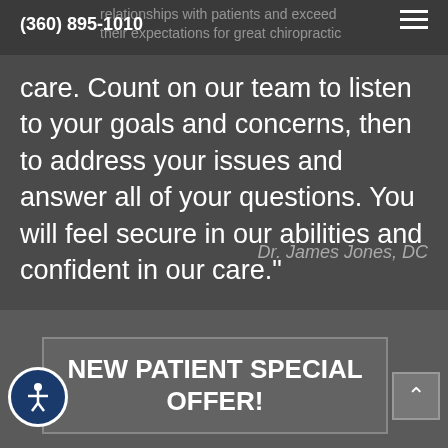(360) 895-1010
relationships with patients and exceed their expectations for great chiropractic care. Count on our team to listen to your goals and concerns, then to address your issues and answer all of your questions. You will feel secure in our abilities and confident in our care."
Dr. James Jones, DC
NEW PATIENT SPECIAL OFFER!